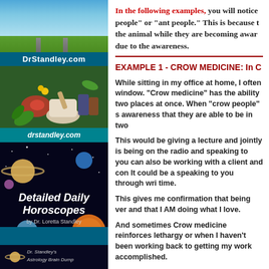[Figure (illustration): Left sidebar with landscape photo (sky and green field with road), DrStandley.com branding bar, herbs/natural medicine photo with drstandley.com text, Detailed Daily Horoscopes book cover with planets, and Astrology Brain Dump footer section]
In the following examples, you will notice people" or "ant people." This is because the animal while they are becoming aware due to the awareness.
EXAMPLE 1 - CROW MEDICINE: In C
While sitting in my office at home, I often window. "Crow medicine" has the ability two places at once. When "crow people" s awareness that they are able to be in two
This would be giving a lecture and jointly is being on the radio and speaking to you can also be working with a client and con It could be a speaking to you through wri time.
This gives me confirmation that being ver and that I AM doing what I love.
And sometimes Crow medicine reinforces lethargy or when I haven't been working back to getting my work accomplished.